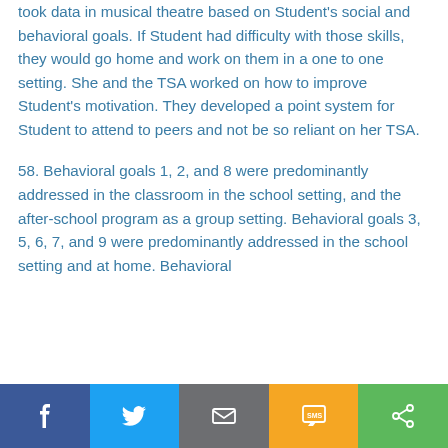took data in musical theatre based on Student's social and behavioral goals. If Student had difficulty with those skills, they would go home and work on them in a one to one setting. She and the TSA worked on how to improve Student's motivation. They developed a point system for Student to attend to peers and not be so reliant on her TSA.
58. Behavioral goals 1, 2, and 8 were predominantly addressed in the classroom in the school setting, and the after-school program as a group setting. Behavioral goals 3, 5, 6, 7, and 9 were predominantly addressed in the school setting and at home. Behavioral